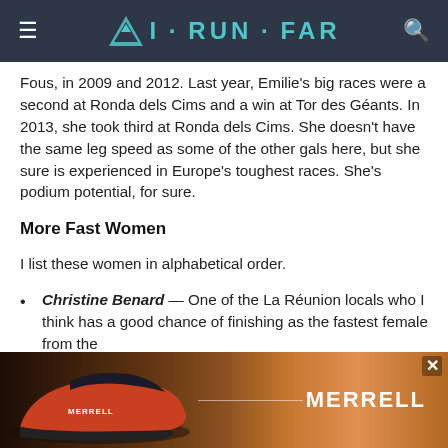I·RUN·FAR
Fous, in 2009 and 2012. Last year, Emilie's big races were a second at Ronda dels Cims and a win at Tor des Géants. In 2013, she took third at Ronda dels Cims. She doesn't have the same leg speed as some of the other gals here, but she sure is experienced in Europe's toughest races. She's podium potential, for sure.
More Fast Women
I list these women in alphabetical order.
Christine Benard — One of the La Réunion locals who I think has a good chance of finishing as the fastest female from the
[Figure (photo): Merrell shoe advertisement banner showing a trail runner and a red running shoe with MERRELL branding]